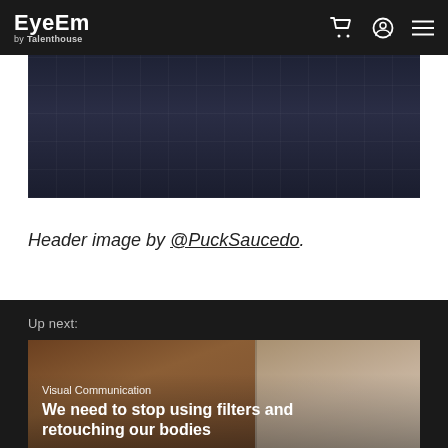EyeEm by Talenthouse
[Figure (photo): Dark textured floor surface, photographed from above, showing tile or pavement pattern in deep navy/dark tones]
Header image by @PuckSaucedo.
Up next:
[Figure (photo): Next article card showing two people, with overlay text 'Visual Communication' and article title 'We need to stop using filters and retouching our bodies']
Visual Communication
We need to stop using filters and retouching our bodies